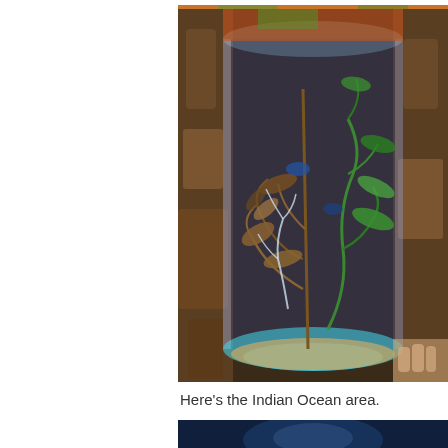[Figure (photo): Cylindrical aquarium tank containing aquatic plants (seaweed/kelp) in green and brown colors with fish, illuminated from below with blue-teal light, surrounded by rocky cave-like walls. A person's hand is visible at bottom right.]
Here’s the Indian Ocean area.
[Figure (photo): Large fish viewed through thick aquarium glass in the Indian Ocean area exhibit, with deep blue water visible.]